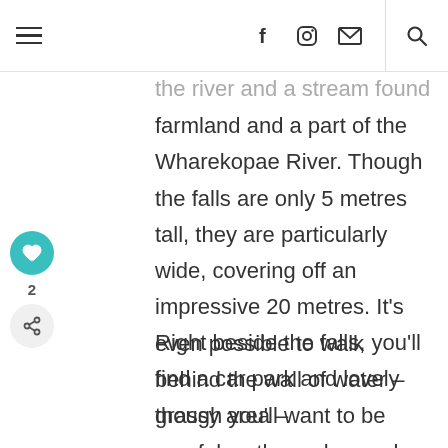[navigation header with hamburger menu, social icons, and search]
…the river and a stream founded by farmland and a part of the Wharekopae River. Though the falls are only 5 metres tall, they are particularly wide, covering off an impressive 20 metres. It's even possible to walk behind the wall of water – though you'll want to be careful as the rocks can be slippery.
Right beside the falls, you'll find a car park and lovely grassy area –